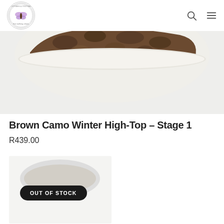[Figure (logo): Footsies & Tootsies first walking shoes circular logo with butterfly illustration]
[Figure (photo): Top portion of a brown camouflage winter high-top shoe on a white sole, viewed from above against light grey background]
Brown Camo Winter High-Top – Stage 1
R439.00
[Figure (photo): Related product card thumbnail showing partial view of another shoe with OUT OF STOCK badge overlay]
OUT OF STOCK